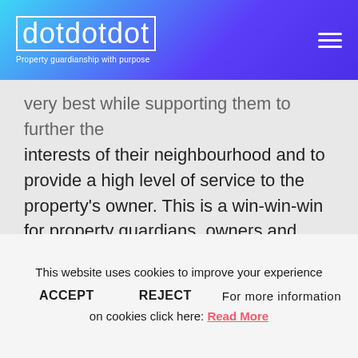dotdotdot — Property guardianship with purpose
very best while supporting them to further the interests of their neighbourhood and to provide a high level of service to the property's owner. This is a win-win-win for property guardians, owners and communities.
Find out more
This website uses cookies to improve your experience
ACCEPT   REJECT   For more information on cookies click here: Read More